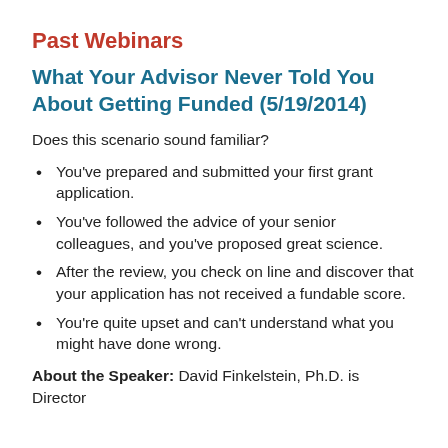Past Webinars
What Your Advisor Never Told You About Getting Funded (5/19/2014)
Does this scenario sound familiar?
You've prepared and submitted your first grant application.
You've followed the advice of your senior colleagues, and you've proposed great science.
After the review, you check on line and discover that your application has not received a fundable score.
You're quite upset and can't understand what you might have done wrong.
About the Speaker: David Finkelstein, Ph.D. is Director